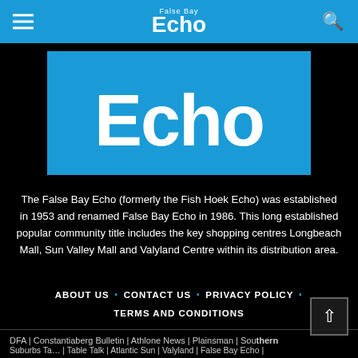False Bay Echo
[Figure (logo): False Bay Echo logo — large white 'Echo' text on blue background]
The False Bay Echo (formerly the Fish Hoek Echo) was established in 1953 and renamed False Bay Echo in 1986. This long established popular community title includes the key shopping centres Longbeach Mall, Sun Valley Mall and Valyland Centre within its distribution area.
ABOUT US . CONTACT US . PRIVACY POLICY . TERMS AND CONDITIONS
DFA | Constantiaberg Bulletin | Athlone News | Plainsman | Southern Suburbs Tatler | Table Talk | Atlantic Sun | Valyland | False Bay Echo |